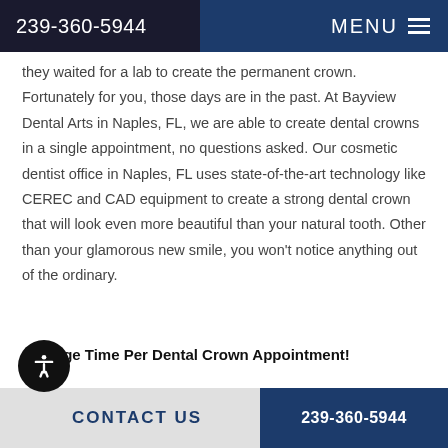239-360-5944   MENU
they waited for a lab to create the permanent crown. Fortunately for you, those days are in the past. At Bayview Dental Arts in Naples, FL, we are able to create dental crowns in a single appointment, no questions asked. Our cosmetic dentist office in Naples, FL uses state-of-the-art technology like CEREC and CAD equipment to create a strong dental crown that will look even more beautiful than your natural tooth. Other than your glamorous new smile, you won't notice anything out of the ordinary.
Average Time Per Dental Crown Appointment!
CONTACT US   239-360-5944